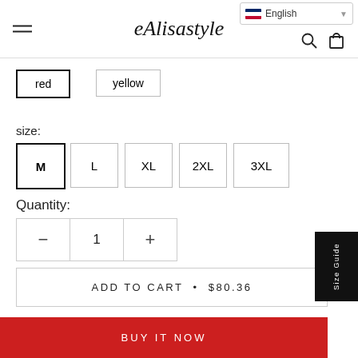eAlisastyle — English navigation header
red
yellow
size:
M
L
XL
2XL
3XL
Quantity:
− 1 +
ADD TO CART • $80.36
BUY IT NOW